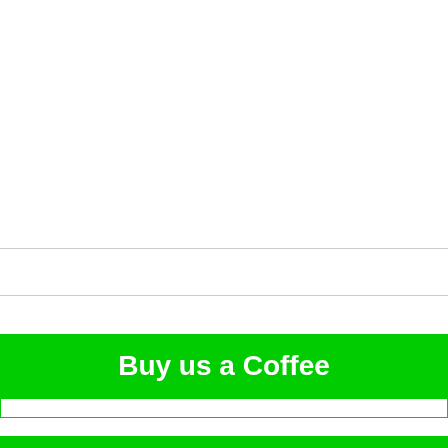[Figure (other): Large white blank area at top of page]
Buy us a Coffee
Affiliate Links